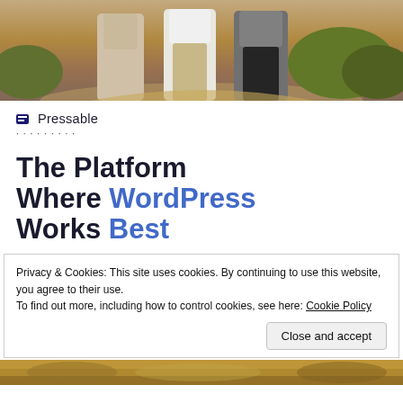[Figure (photo): Three people standing on a hiking trail outdoors, partial view from waist down, with rocky terrain and bushes in the background]
Pressable
The Platform Where WordPress Works Best
Privacy & Cookies: This site uses cookies. By continuing to use this website, you agree to their use.
To find out more, including how to control cookies, see here: Cookie Policy
[Figure (photo): Bottom portion of a nature/outdoor photo, crops and dry vegetation visible]